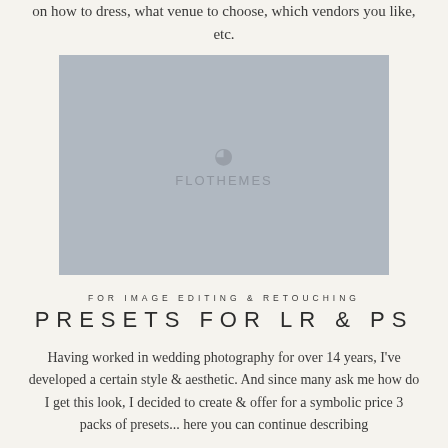on how to dress, what venue to choose, which vendors you like, etc.
[Figure (photo): Placeholder image with watermark logo 'FLOTHEMES' and a small icon above it, grey rectangle]
FOR IMAGE EDITING & RETOUCHING
PRESETS FOR LR & PS
Having worked in wedding photography for over 14 years, I've developed a certain style & aesthetic. And since many ask me how do I get this look, I decided to create & offer for a symbolic price 3 packs of presets... here you can continue describing